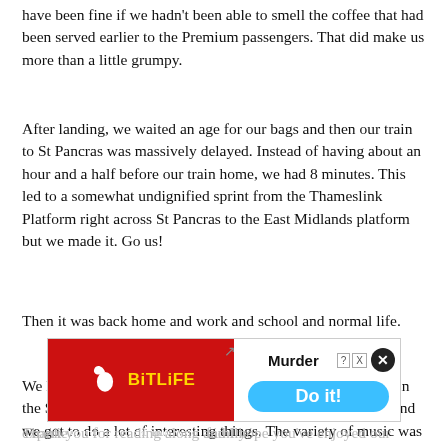have been fine if we hadn't been able to smell the coffee that had been served earlier to the Premium passengers. That did make us more than a little grumpy.
After landing, we waited an age for our bags and then our train to St Pancras was massively delayed. Instead of having about an hour and a half before our train home, we had 8 minutes. This led to a somewhat undignified sprint from the Thameslink Platform right across St Pancras to the East Midlands platform but we made it. Go us!
Then it was back home and work and school and normal life.
We had a really fantastic time and very much enjoyed being in the South. The food was good and the people were friendly and we got to do a lot of interesting things. The variety of music was a particular highlight, as was experie... family and spe...
[Figure (other): BitLife mobile game advertisement banner with red left panel showing BitLife logo (sperm icon + yellow BitLife text), and white right panel showing 'Murder' text with 'Do it!' blue button]
Thank you for reading along and I hope you've enjoyed our